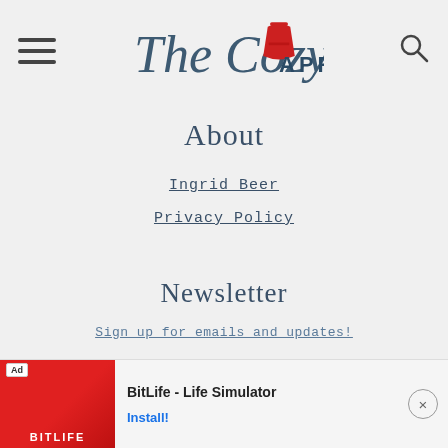The Cozy Apron
About
Ingrid Beer
Privacy Policy
Newsletter
Sign up for emails and updates!
[Figure (other): BitLife - Life Simulator advertisement banner at bottom of page]